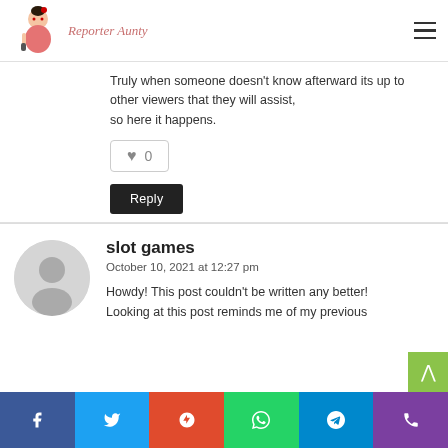Reporter Aunty
Truly when someone doesn't know afterward its up to other viewers that they will assist, so here it happens.
0
Reply
slot games
October 10, 2021 at 12:27 pm
Howdy! This post couldn't be written any better! Looking at this post reminds me of my previous
f  t  G  whatsapp  telegram  phone